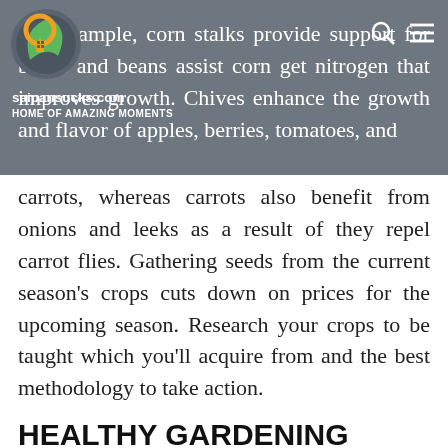saipansucks.com HOME OF AMAZING MOMENTS
For example, corn stalks provide support for beans and beans assist corn get nitrogen that improves growth. Chives enhance the growth and flavor of apples, berries, tomatoes, and carrots, whereas carrots also benefit from onions and leeks as a result of they repel carrot flies. Gathering seeds from the current season's crops cuts down on prices for the upcoming season. Research your crops to be taught which you'll acquire from and the best methodology to take action.
HEALTHY GARDENING
Master Gardeners know from decades of expertise that gardening, particularly vegetable